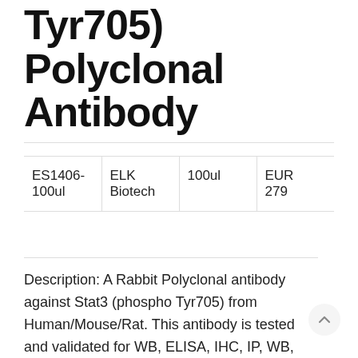Tyr705) Polyclonal Antibody
|  |  |  |  |
| --- | --- | --- | --- |
| ES1406-
100ul | ELK
Biotech | 100ul | EUR
279 |
Description: A Rabbit Polyclonal antibody against Stat3 (phospho Tyr705) from Human/Mouse/Rat. This antibody is tested and validated for WB, ELISA, IHC, IP, WB, ELISA